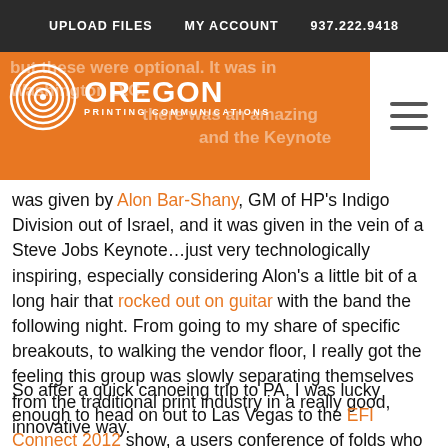UPLOAD FILES   MY ACCOUNT   937.222.9418
[Figure (logo): Oregon Printing Communications logo with circular fingerprint icon in white on orange background]
was given by Alon Bar-Shany, GM of HP's Indigo Division out of Israel, and it was given in the vein of a Steve Jobs Keynote...just very technologically inspiring, especially considering Alon's a little bit of a long hair that rocked out on guitar with the band the following night. From going to my share of specific breakouts, to walking the vendor floor, I really got the feeling this group was slowly separating themselves from the traditional print industry in a really good, innovative way.
So after a quick canoeing trip to PA, I was lucky enough to head on out to Las Vegas to the EFI Connect 2012 show, a users conference of folds who